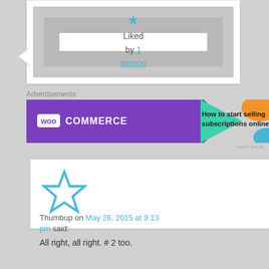[Figure (illustration): Liked by 1 person widget with a blue star icon, nested grey and white boxes]
Advertisements
[Figure (illustration): WooCommerce advertisement banner: How to start selling subscriptions online]
report this ad
[Figure (illustration): Star icon outline in blue - Thumbup user avatar]
Thumbup on May 26, 2015 at 9:13 pm said:
All right, all right. # 2 too.